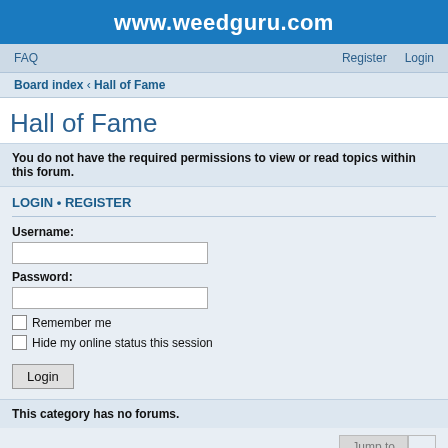www.weedguru.com
FAQ    Register   Login
Board index ‹ Hall of Fame
Hall of Fame
You do not have the required permissions to view or read topics within this forum.
LOGIN • REGISTER
Username:
Password:
Remember me
Hide my online status this session
Login
This category has no forums.
Jump to